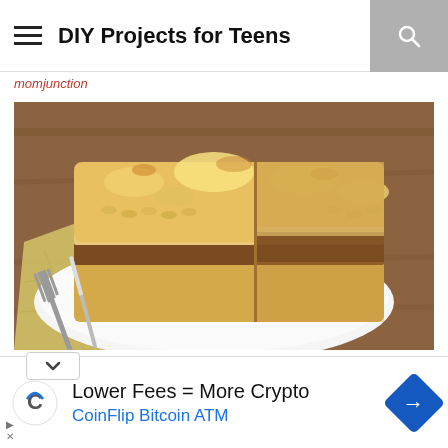DIY Projects for Teens
momjunction
[Figure (photo): A baked pasta casserole dish (similar to pastitsio or mac and cheese pie) sliced to show layers of pasta, meat filling, and melted cheese on a white plate with a fork, on a wooden table with a yellow checkered napkin.]
Lower Fees = More Crypto
CoinFlip Bitcoin ATM